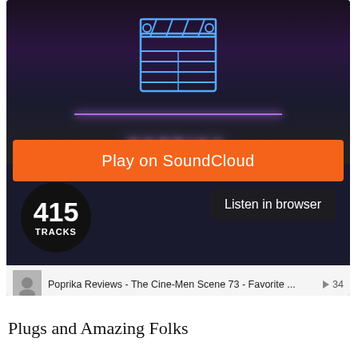[Figure (screenshot): SoundCloud embedded player for Poprika Reviews - Movie Reviews podcast. Shows a dark banner with a neon clapperboard icon and 'POPRIKA' text in purple neon. Orange 'Play on SoundCloud' button, 'Listen in browser' button, '415 TRACKS' badge, and a tracklist showing 4 podcast episodes with play counts.]
Poprika Reviews - The Cine-Men Scene 73 - Favorite ... ▶ 34
Poprika Reviews - Recast Cast 1.4 - The Dirty Dozen ▶ 39
Poprika Reviews - Poprika Presents: The Tag Team T... ▶ 67
Poprika Reviews - The Cine-Men Scene 72 - Movies ... ▶ 57
Privacy policy
Plugs and Amazing Folks